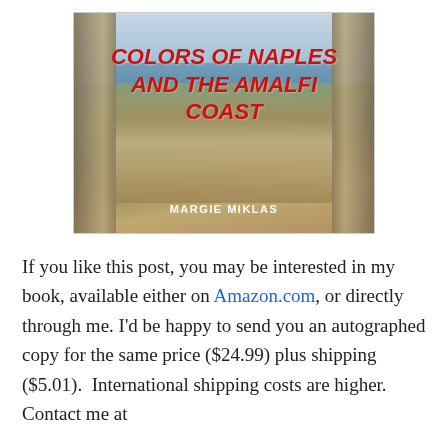[Figure (photo): Book cover for 'Colors of Naples and the Amalfi Coast' by Margie Miklas. Shows a panoramic view of Naples and the coast framed by stone pillars on either side. The title is in bold red italic text, and the author name 'MARGIE MIKLAS' appears in white at the bottom.]
If you like this post, you may be interested in my book, available either on Amazon.com, or directly through me. I'd be happy to send you an autographed copy for the same price ($24.99) plus shipping ($5.01).  International shipping costs are higher. Contact me at